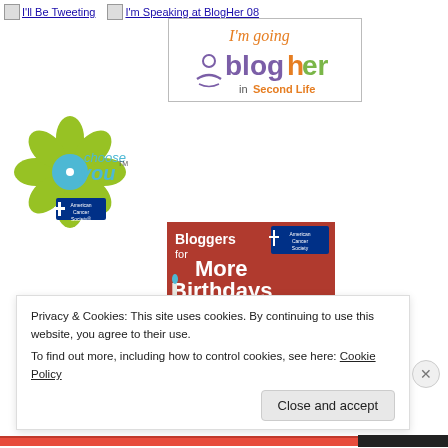[Figure (logo): I'll Be Tweeting badge link with image placeholder]
[Figure (logo): I'm Speaking at BlogHer 08 badge link with image placeholder]
[Figure (logo): I'm going BlogHer in Second Life banner - colorful text logo]
[Figure (logo): Choose You - American Cancer Society flower logo in green/blue]
[Figure (illustration): Bloggers for More Birthdays - American Cancer Society promotional banner with cupcake and JOIN ME HERE button]
Privacy & Cookies: This site uses cookies. By continuing to use this website, you agree to their use.
To find out more, including how to control cookies, see here: Cookie Policy
Close and accept